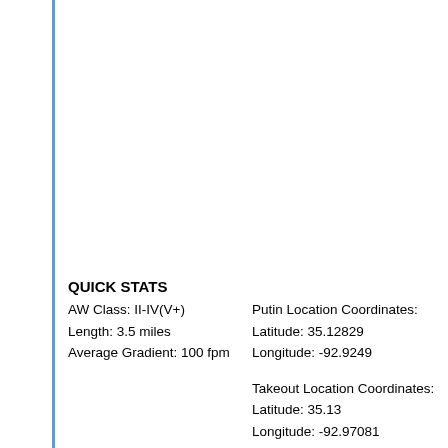QUICK STATS
AW Class: II-IV(V+)
Length: 3.5 miles
Average Gradient: 100 fpm
Putin Location Coordinates:
Latitude: 35.12829
Longitude: -92.9249
Takeout Location Coordinates:
Latitude: 35.13
Longitude: -92.97081